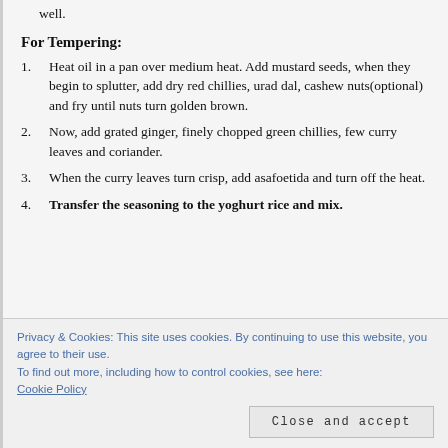well.
For Tempering:
1. Heat oil in a pan over medium heat. Add mustard seeds, when they begin to splutter, add dry red chillies, urad dal, cashew nuts(optional) and fry until nuts turn golden brown.
2. Now, add grated ginger, finely chopped green chillies, few curry leaves and coriander.
3. When the curry leaves turn crisp, add asafoetida and turn off the heat.
4. Transfer the seasoning to the yoghurt rice and mix.
Privacy & Cookies: This site uses cookies. By continuing to use this website, you agree to their use.
To find out more, including how to control cookies, see here:
Cookie Policy
Close and accept